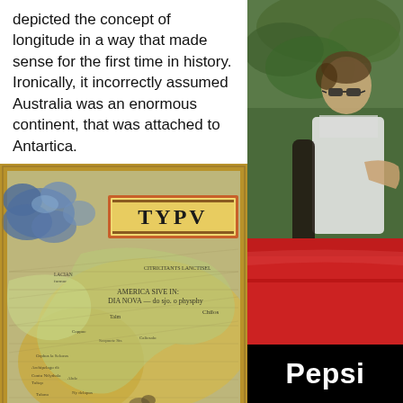depicted the concept of longitude in a way that made sense for the first time in history. Ironically, it incorrectly assumed Australia was an enormous continent, that was attached to Antartica.
[Figure (map): An antique historical map showing the Americas labeled 'TYPV', with Latin text 'AMERICA SIVE INDIA NOVA' and place names like 'Chilos', decorative clouds and sea monsters in the corners.]
[Figure (photo): A man wearing sunglasses sitting in or next to a red convertible car, with green foliage in the background. Pepsi logo text in white on black bar at bottom.]